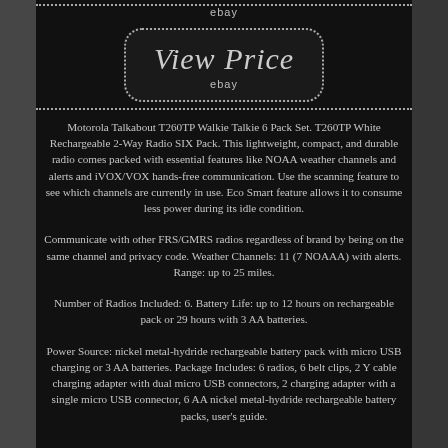[Figure (other): eBay logo text and dotted border at top]
[Figure (other): View Price button with rounded dotted border and eBay text below]
Motorola Talkabout T260TP Walkie Talkie 6 Pack Set. T260TP White Rechargeable 2-Way Radio SIX Pack. This lightweight, compact, and durable radio comes packed with essential features like NOAA weather channels and alerts and iVOX/VOX hands-free communication. Use the scanning feature to see which channels are currently in use. Eco Smart feature allows it to consume less power during its idle condition.
Communicate with other FRS/GMRS radios regardless of brand by being on the same channel and privacy code. Weather Channels: 11 (7 NOAAA) with alerts. Range: up to 25 miles.
Number of Radios Included: 6. Battery Life: up to 12 hours on rechargeable pack or 29 hours with 3 AA batteries.
Power Source: nickel metal-hydride rechargeable battery pack with micro USB charging or 3 AA batteries. Package Includes: 6 radios, 6 belt clips, 2 Y cable charging adapter with dual micro USB connectors, 2 charging adapter with a single micro USB connector, 6 AA nickel metal-hydride rechargeable battery packs, user's guide.